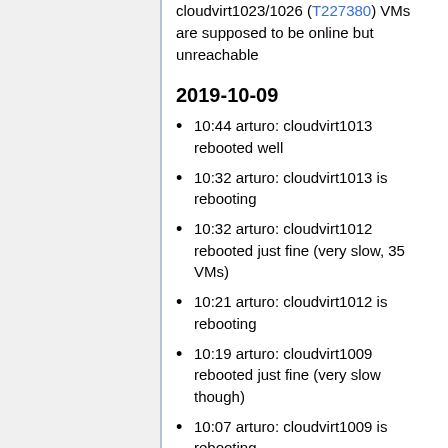cloudvirt1023/1026 (T227380) VMs are supposed to be online but unreachable
2019-10-09
10:44 arturo: cloudvirt1013 rebooted well
10:32 arturo: cloudvirt1013 is rebooting
10:32 arturo: cloudvirt1012 rebooted just fine (very slow, 35 VMs)
10:21 arturo: cloudvirt1012 is rebooting
10:19 arturo: cloudvirt1009 rebooted just fine (very slow though)
10:07 arturo: cloudvirt1009 is rebooting
10:06 arturo: cloudvirt1008 rebooted just fine (very slow though)
09:58 arturo: cloudvirt1008 is